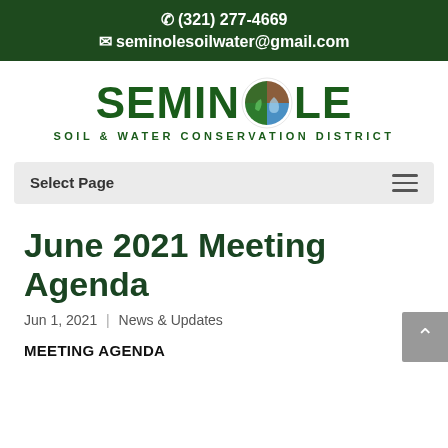☎ (321) 277-4669  ✉ seminolesoilwater@gmail.com
[Figure (logo): Seminole Soil & Water Conservation District logo with circular emblem showing soil, water drop, and leaf elements]
Select Page
June 2021 Meeting Agenda
Jun 1, 2021 | News & Updates
MEETING AGENDA